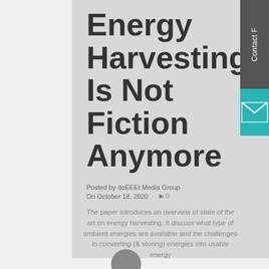Energy Harvesting Is Not Fiction Anymore
Posted by doEEEt Media Group
On October 18, 2020   0
The paper introduces an overview of state of the art on energy harvesting. It discuss what type of ambient energies are available and the challenges in converting (& storing) energies into usable energy